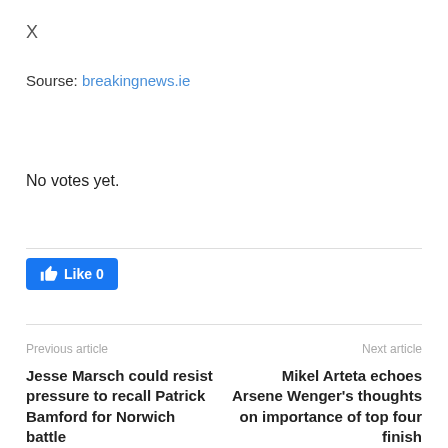X
Sourse: breakingnews.ie
No votes yet.
[Figure (other): Facebook Like button showing 'Like 0']
Previous article
Next article
Jesse Marsch could resist pressure to recall Patrick Bamford for Norwich battle
Mikel Arteta echoes Arsene Wenger's thoughts on importance of top four finish